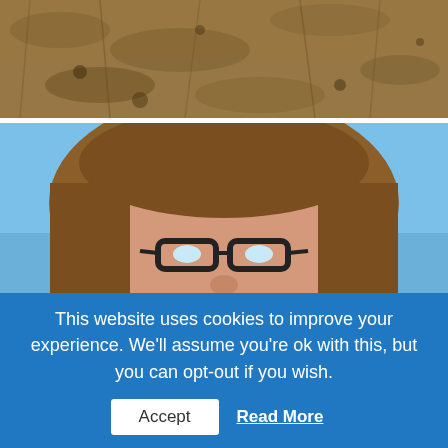[Figure (photo): Top portion of a photograph showing dry brown grass/ground texture close-up]
[Figure (photo): Woman with long brown hair and dark-framed glasses, smiling, nuzzling a goat close to her face, outdoors with blue sky and bare trees in background, wearing a plaid shirt]
This website uses cookies to improve your experience. We'll assume you're ok with this, but you can opt-out if you wish.
Accept
Read More